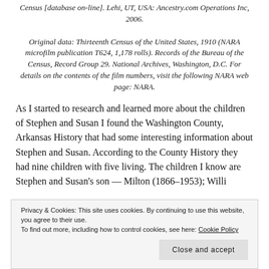Census [database on-line]. Lehi, UT, USA: Ancestry.com Operations Inc, 2006.

Original data: Thirteenth Census of the United States, 1910 (NARA microfilm publication T624, 1,178 rolls). Records of the Bureau of the Census, Record Group 29. National Archives, Washington, D.C. For details on the contents of the film numbers, visit the following NARA web page: NARA.
As I started to research and learned more about the children of Stephen and Susan I found the Washington County, Arkansas History that had some interesting information about Stephen and Susan. According to the County History they had nine children with five living. The children I know are Stephen and Susan's son...
Privacy & Cookies: This site uses cookies. By continuing to use this website, you agree to their use.
To find out more, including how to control cookies, see here: Cookie Policy